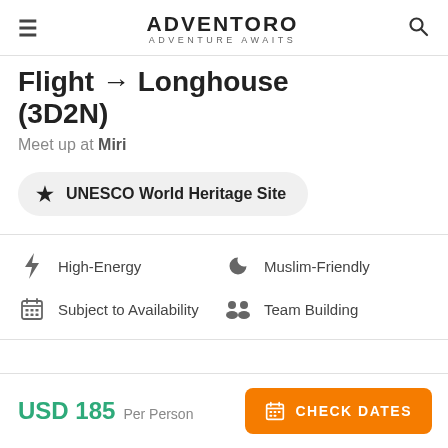ADVENTORO — ADVENTURE AWAITS
Flight → Longhouse (3D2N)
Meet up at Miri
★ UNESCO World Heritage Site
High-Energy
Muslim-Friendly
Subject to Availability
Team Building
USD 185 Per Person
CHECK DATES